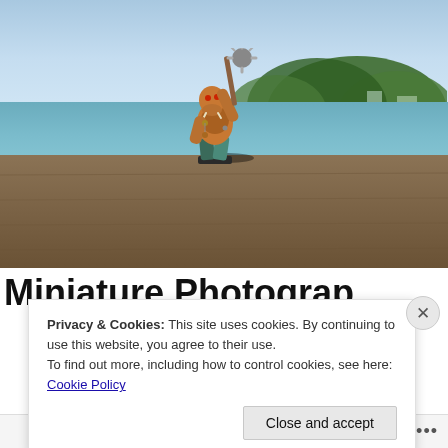[Figure (photo): A painted fantasy miniature figurine (orc/troll-like creature holding a spiked mace/club) placed on a wooden table surface, photographed with a beach scene in the background showing blue water, sandy shore, and tree-lined coast under a clear blue sky.]
Miniature Photography...
Privacy & Cookies: This site uses cookies. By continuing to use this website, you agree to their use.
To find out more, including how to control cookies, see here: Cookie Policy
Close and accept
Follow ...